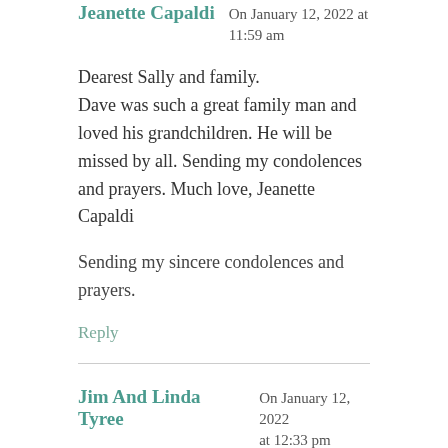Jeanette Capaldi  On January 12, 2022 at 11:59 am
Dearest Sally and family.
Dave was such a great family man and loved his grandchildren. He will be missed by all. Sending my condolences and prayers. Much love, Jeanette Capaldi
Sending my sincere condolences and prayers.
Reply
Jim And Linda Tyree  On January 12, 2022 at 12:33 pm
Our love to you, Sally, and your family. Dave was such a sweet man, and a fun loving